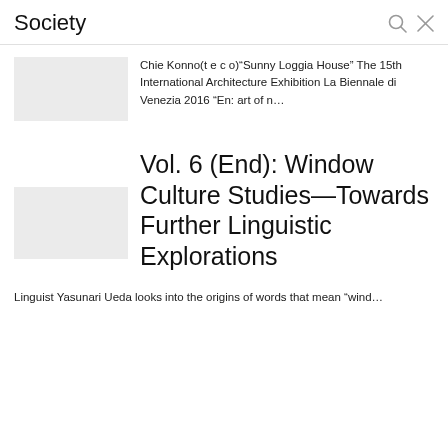Society
[Figure (photo): Thumbnail image placeholder (gray rectangle) for first article]
Chie Konno(t e c o)“Sunny Loggia House” The 15th International Architecture Exhibition La Biennale di Venezia 2016 “En: art of n…
[Figure (photo): Thumbnail image placeholder (gray rectangle) for second article]
Vol. 6 (End): Window Culture Studies—Towards Further Linguistic Explorations
Linguist Yasunari Ueda looks into the origins of words that mean “wind…